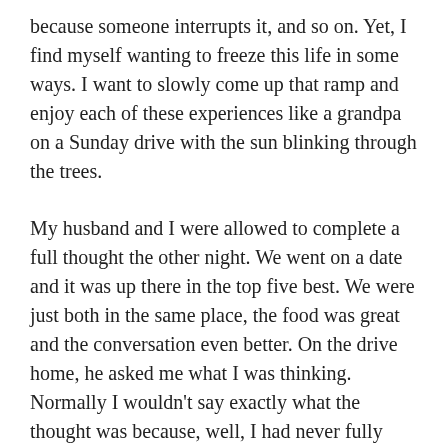because someone interrupts it, and so on. Yet, I find myself wanting to freeze this life in some ways. I want to slowly come up that ramp and enjoy each of these experiences like a grandpa on a Sunday drive with the sun blinking through the trees.
My husband and I were allowed to complete a full thought the other night. We went on a date and it was up there in the top five best. We were just both in the same place, the food was great and the conversation even better. On the drive home, he asked me what I was thinking. Normally I wouldn't say exactly what the thought was because, well, I had never fully completed it. It has been a thought for years, even before kids. Curious? Here goes...